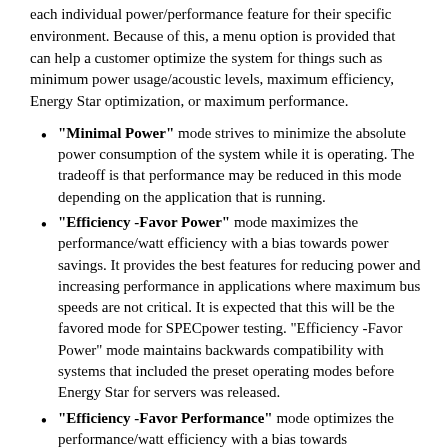each individual power/performance feature for their specific environment. Because of this, a menu option is provided that can help a customer optimize the system for things such as minimum power usage/acoustic levels, maximum efficiency, Energy Star optimization, or maximum performance.
"Minimal Power" mode strives to minimize the absolute power consumption of the system while it is operating. The tradeoff is that performance may be reduced in this mode depending on the application that is running.
"Efficiency -Favor Power" mode maximizes the performance/watt efficiency with a bias towards power savings. It provides the best features for reducing power and increasing performance in applications where maximum bus speeds are not critical. It is expected that this will be the favored mode for SPECpower testing. "Efficiency -Favor Power" mode maintains backwards compatibility with systems that included the preset operating modes before Energy Star for servers was released.
"Efficiency -Favor Performance" mode optimizes the performance/watt efficiency with a bias towards performance. It is the favored mode for Energy Star. Not shown here, but it slightly differs at the...